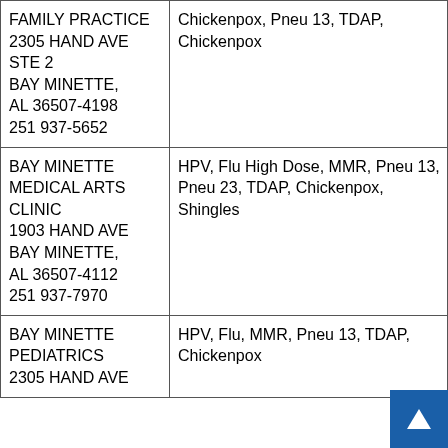| Provider | Vaccines Available |
| --- | --- |
| FAMILY PRACTICE
2305 HAND AVE STE 2
BAY MINETTE, AL 36507-4198
251 937-5652 | Chickenpox, Pneu 13, TDAP, Chickenpox |
| BAY MINETTE MEDICAL ARTS CLINIC
1903 HAND AVE
BAY MINETTE, AL 36507-4112
251 937-7970 | HPV, Flu High Dose, MMR, Pneu 13, Pneu 23, TDAP, Chickenpox, Shingles |
| BAY MINETTE PEDIATRICS
2305 HAND AVE | HPV, Flu, MMR, Pneu 13, TDAP, Chickenpox |